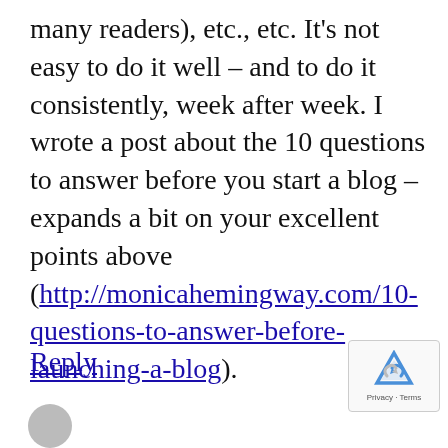many readers), etc., etc. It's not easy to do it well – and to do it consistently, week after week. I wrote a post about the 10 questions to answer before you start a blog –  expands a bit on your excellent points above (http://monicahemingway.com/10-questions-to-answer-before-launching-a-blog).
Reply